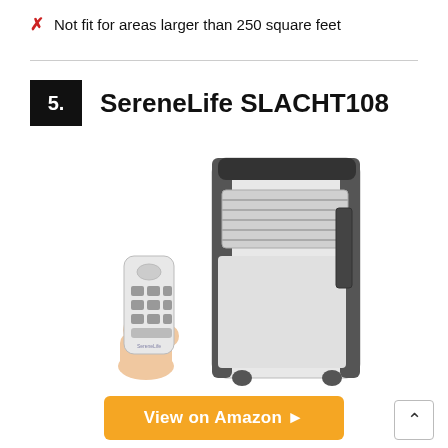✗  Not fit for areas larger than 250 square feet
5.  SereneLife SLACHT108
[Figure (photo): Photo of the SereneLife SLACHT108 portable air conditioner unit (white and dark grey) shown next to a hand holding a white remote control with multiple buttons.]
View on Amazon ▶